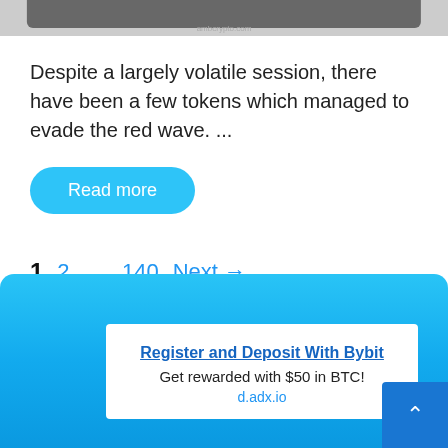[Figure (photo): Partial top image strip showing cropped photo, partially visible]
Despite a largely volatile session, there have been a few tokens which managed to evade the red wave. ...
Read more
1  2  ...  140  Next →
[Figure (infographic): Blue gradient advertisement banner for Bybit with white inner card]
Register and Deposit With Bybit
Get rewarded with $50 in BTC!
d.adx.io